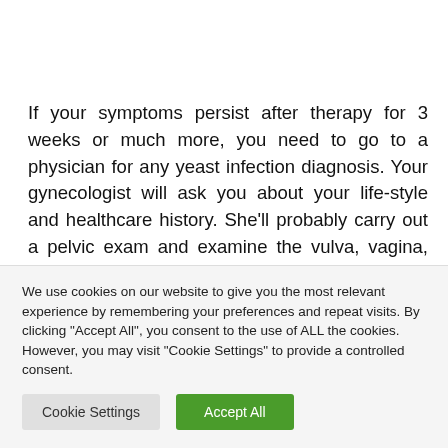If your symptoms persist after therapy for 3 weeks or much more, you need to go to a physician for any yeast infection diagnosis. Your gynecologist will ask you about your life-style and healthcare history. She'll probably carry out a pelvic exam and examine the vulva, vagina, and cervix. She'll take a sample of one's vaginal discharge and analyze it below a microscope. The outcomes of those
We use cookies on our website to give you the most relevant experience by remembering your preferences and repeat visits. By clicking "Accept All", you consent to the use of ALL the cookies. However, you may visit "Cookie Settings" to provide a controlled consent.